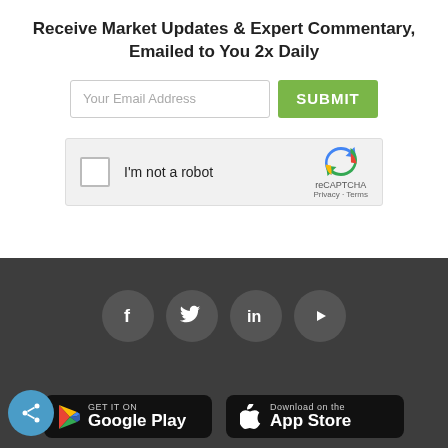Receive Market Updates & Expert Commentary, Emailed to You 2x Daily
[Figure (screenshot): Email subscription form with input field and green SUBMIT button, plus reCAPTCHA checkbox widget showing 'I'm not a robot']
[Figure (infographic): Dark footer section with social media icons (Facebook, Twitter, LinkedIn, YouTube) and Google Play and App Store download buttons, plus a share button]